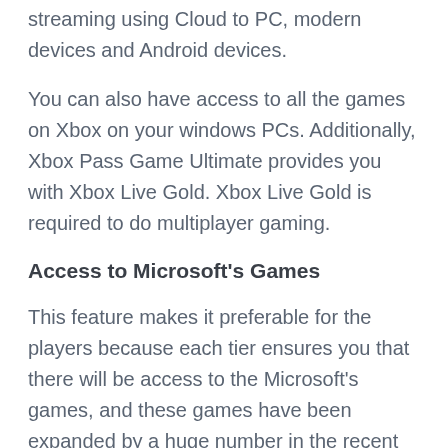streaming using Cloud to PC, modern devices and Android devices.
You can also have access to all the games on Xbox on your windows PCs. Additionally, Xbox Pass Game Ultimate provides you with Xbox Live Gold. Xbox Live Gold is required to do multiplayer gaming.
Access to Microsoft's Games
This feature makes it preferable for the players because each tier ensures you that there will be access to the Microsoft's games, and these games have been expanded by a huge number in the recent years, and this credit goes to Microsoft Studio.